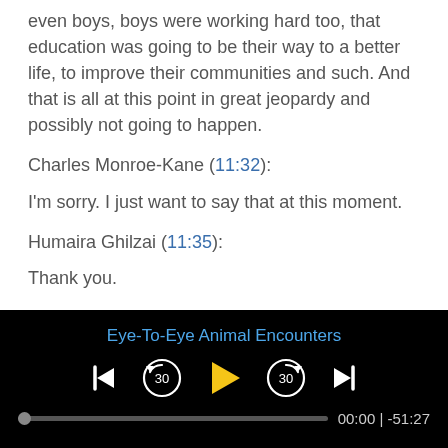even boys, boys were working hard too, that education was going to be their way to a better life, to improve their communities and such. And that is all at this point in great jeopardy and possibly not going to happen.
Charles Monroe-Kane (11:32):
I'm sorry. I just want to say that at this moment.
Humaira Ghilzai (11:35):
Thank you.
Charles Monroe-Kane (11:36):
[Figure (screenshot): Audio player with title 'Eye-To-Eye Animal Encounters', playback controls (skip to start, rewind 30s, play, forward 30s, skip to end), progress bar at 0:00, total time -51:27]